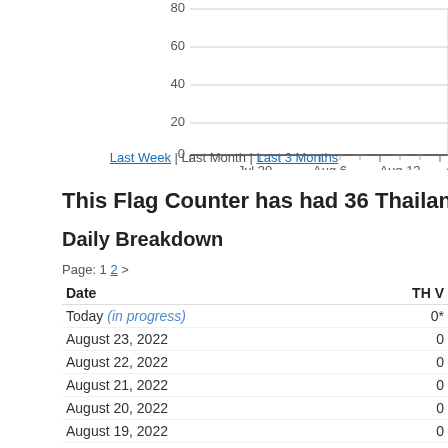[Figure (line-chart): Partial line chart showing y-axis values 0, 20, 40, 60, 80 and x-axis dates Jul 30, Aug 6, Aug 13, Aug (truncated). Chart area appears mostly empty indicating near-zero values.]
Last Week | Last Month | Last 3 Months
This Flag Counter has had 36 Thailand visitors!
Daily Breakdown
Page: 1 2 >
| Date | TH V |
| --- | --- |
| Today (in progress) | 0* |
| August 23, 2022 | 0 |
| August 22, 2022 | 0 |
| August 21, 2022 | 0 |
| August 20, 2022 | 0 |
| August 19, 2022 | 0 |
| August 18, 2022 | 0 |
| August 17, 2022 | 0 |
| August 16, 2022 | 0 |